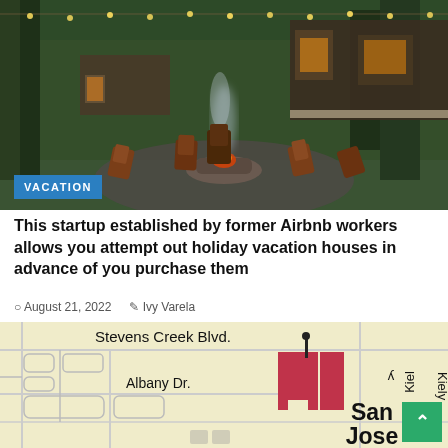[Figure (photo): Outdoor fire pit surrounded by wooden chairs with a wooded background and cabin/house structures. String lights visible overhead. Smoke rising from fire pit area.]
VACATION
This startup established by former Airbnb workers allows you attempt out holiday vacation houses in advance of you purchase them
August 21, 2022   Ivy Varela
[Figure (map): Map showing Stevens Creek Blvd. and Albany Dr. in San Jose area with red building markers and Kiely street visible.]